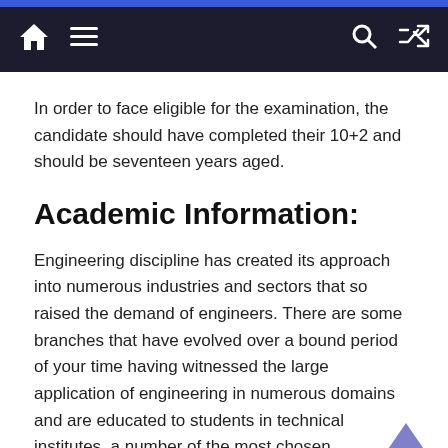Navigation bar with home, menu, search, and shuffle icons
In order to face eligible for the examination, the candidate should have completed their 10+2 and should be seventeen years aged.
Academic Information:
Engineering discipline has created its approach into numerous industries and sectors that so raised the demand of engineers. There are some branches that have evolved over a bound period of your time having witnessed the large application of engineering in numerous domains and are educated to students in technical institutes. a number of the most chosen